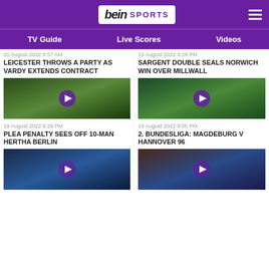beIN SPORTS
TV Guide  Live Scores  Videos
20 August 2022 9:57 AM
LEICESTER THROWS A PARTY AS VARDY EXTENDS CONTRACT
[Figure (photo): Football players on pitch, white jerseys]
19 August 2022 9:29 PM
SARGENT DOUBLE SEALS NORWICH WIN OVER MILLWALL
[Figure (photo): Aerial view of football pitch, score 0-2]
19 August 2022 9:29 PM
PLEA PENALTY SEES OFF 10-MAN HERTHA BERLIN
[Figure (photo): Goalkeeper diving, score 0-2, Hamburg stadium]
19 August 2022 8:05 PM
2. BUNDESLIGA: MAGDEBURG V HANNOVER 96
[Figure (photo): Real Madrid player, Kurdish flag in background]